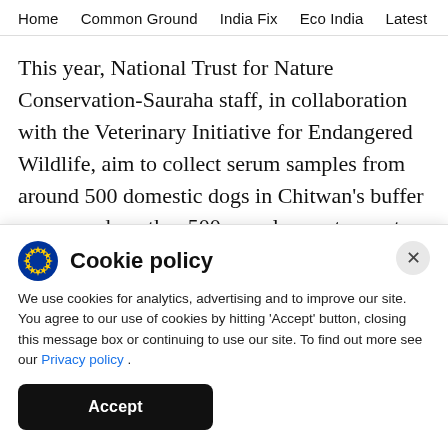Home  Common Ground  India Fix  Eco India  Latest  Th
This year, National Trust for Nature Conservation-Sauraha staff, in collaboration with the Veterinary Initiative for Endangered Wildlife, aim to collect serum samples from around 500 domestic dogs in Chitwan's buffer zones, and another 500 samples next year, to screen for canine distemper. According to Sadaula, within the next two or three
Cookie policy
We use cookies for analytics, advertising and to improve our site. You agree to our use of cookies by hitting 'Accept' button, closing this message box or continuing to use our site. To find out more see our Privacy policy .
Accept